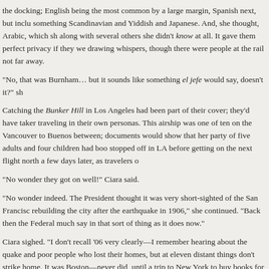the docking; English being the most common by a large margin, Spanish next, but inclu something Scandinavian and Yiddish and Japanese. And, she thought, Arabic, which sh along with several others she didn't know at all. It gave them perfect privacy if they we drawing whispers, though there were people at the rail not far away.
“No, that was Burnham… but it sounds like something el jefe would say, doesn’t it?” sh
Catching the Bunker Hill in Los Angeles had been part of their cover; they’d have taker traveling in their own personas. This airship was one of ten on the Vancouver to Buenos between; documents would show that her party of five adults and four children had boo stopped off in LA before getting on the next flight north a few days later, as travelers o
“No wonder they got on well!” Ciara said.
“No wonder indeed. The President thought it was very short-sighted of the San Francisc rebuilding the city after the earthquake in 1906,” she continued. “Back then the Federal much say in that sort of thing as it does now.”
Ciara sighed. “I don’t recall ’06 very clearly—I remember hearing about the quake and poor people who lost their homes, but at eleven distant things don’t strike home. It was Boston—never did, until a trip to New York to buy books for the store later, Da being to
“I was fifteen. We were staying in Mexico City that year, mi Papá was working on a wa